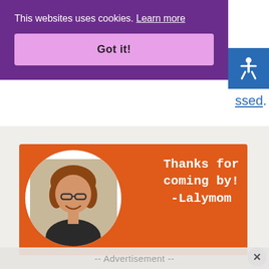This websites uses cookies. Learn more
Got it!
ssed.
[Figure (photo): Orange banner card with a smiling woman in a circular cutout on the left and text 'Thanks for coming by! -Lalymom' on the right in white monospace font.]
-- Advertisement --